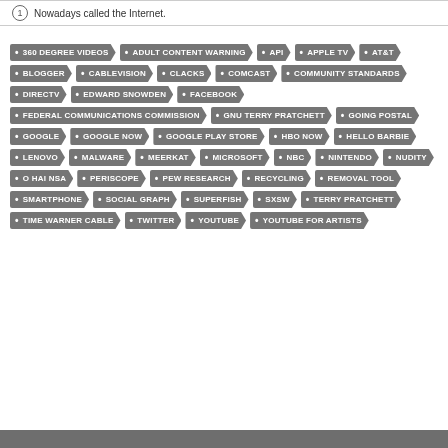1  Nowadays called the Internet.
360 DEGREE VIDEOS
ADULT CONTENT WARNING
API
APPLE TV
AT&T
BLOGGER
CABLEVISION
CLACKS
COMCAST
COMMUNITY STANDARDS
DIRECTV
EDWARD SNOWDEN
FACEBOOK
FEDERAL COMMUNICATIONS COMMISSION
GNU TERRY PRATCHETT
GOING POSTAL
GOOGLE
GOOGLE NOW
GOOGLE PLAY STORE
HBO NOW
HELLO BARBIE
LENOVO
MALWARE
MEERKAT
MICROSOFT
NBC
NINTENDO
NUDITY
O HAI NSA
PERISCOPE
PEW RESEARCH
RECYCLING
REMOVAL TOOL
SMARTPHONE
SOCIAL GRAPH
SUPERFISH
SXSW
TERRY PRATCHETT
TIME WARNER CABLE
TWITTER
YOUTUBE
YOUTUBE FOR ARTISTS